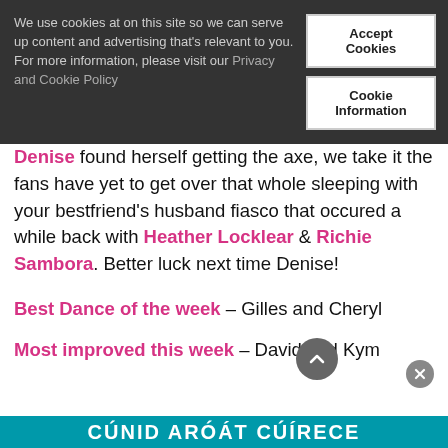We use cookies at on this site so we can serve up content and advertising that's relevant to you. For more information, please visit our Privacy and Cookie Policy
Accept Cookies
Cookie Information
Denise found herself getting the axe, we take it the fans have yet to get over that whole sleeping with your bestfriend's husband fiasco that occured a while back with Heather Locklear & Richie Sambora. Better luck next time Denise!
Best Dance of the week – Gilles and Cheryl
Most improved this week – David and Kym